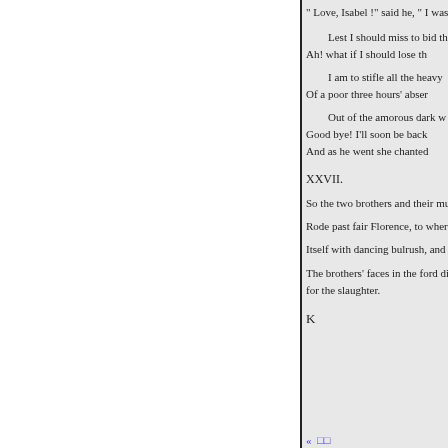" Love, Isabel !" said he, " I was
Lest I should miss to bid th
Ah! what if I should lose th
I am to stifle all the heavy
Of a poor three hours' abser
Out of the amorous dark w
Good bye! I'll soon be back
And as he went she chanted
XXVII.
So the two brothers and their mu
Rode past fair Florence, to where
Itself with dancing bulrush, and
The brothers' faces in the ford di for the slaughter.
K
«  □□